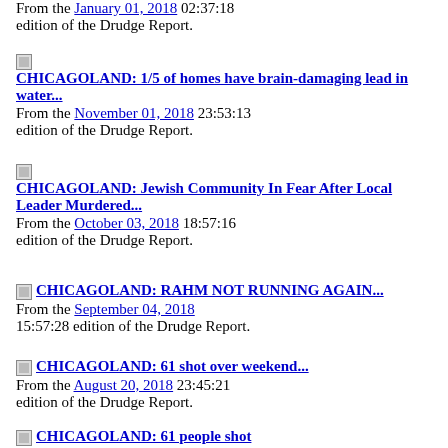From the January 01, 2018 02:37:18 edition of the Drudge Report.
CHICAGOLAND: 1/5 of homes have brain-damaging lead in water... From the November 01, 2018 23:53:13 edition of the Drudge Report.
CHICAGOLAND: Jewish Community In Fear After Local Leader Murdered... From the October 03, 2018 18:57:16 edition of the Drudge Report.
CHICAGOLAND: RAHM NOT RUNNING AGAIN... From the September 04, 2018 15:57:28 edition of the Drudge Report.
CHICAGOLAND: 61 shot over weekend... From the August 20, 2018 23:45:21 edition of the Drudge Report.
CHICAGOLAND: 61 people shot